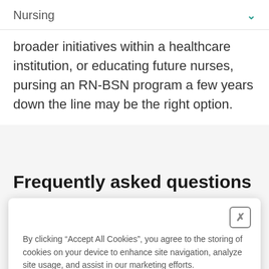Nursing
broader initiatives within a healthcare institution, or educating future nurses, pursing an RN-BSN program a few years down the line may be the right option.
Frequently asked questions
By clicking “Accept All Cookies”, you agree to the storing of cookies on your device to enhance site navigation, analyze site usage, and assist in our marketing efforts. Cookie policy
Manage cookies
Accept all cookies